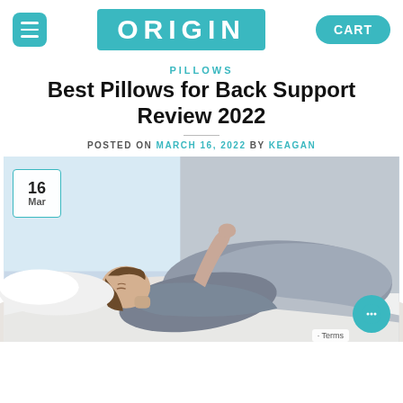ORIGIN | CART
PILLOWS
Best Pillows for Back Support Review 2022
POSTED ON MARCH 16, 2022 BY KEAGAN
[Figure (photo): Woman lying on her side on a bed with grey pillow and bedding, eyes closed, appearing to have back/neck pain, with a date badge showing 16 Mar in the top-left corner and a chat button in the bottom-right corner.]